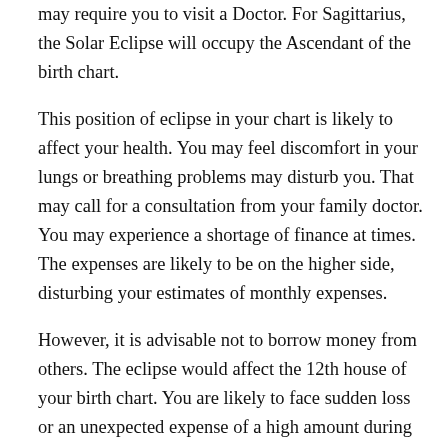may require you to visit a Doctor. For Sagittarius, the Solar Eclipse will occupy the Ascendant of the birth chart.
This position of eclipse in your chart is likely to affect your health. You may feel discomfort in your lungs or breathing problems may disturb you. That may call for a consultation from your family doctor. You may experience a shortage of finance at times. The expenses are likely to be on the higher side, disturbing your estimates of monthly expenses.
However, it is advisable not to borrow money from others. The eclipse would affect the 12th house of your birth chart. You are likely to face sudden loss or an unexpected expense of a high amount during this period.